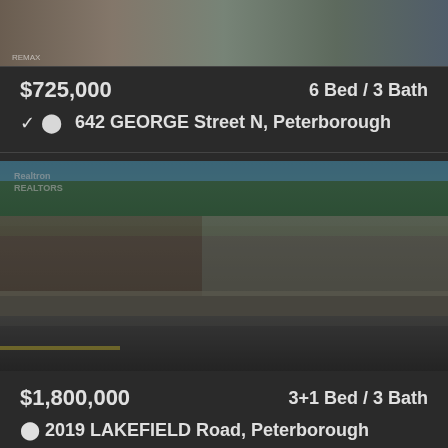[Figure (photo): Partial view of a property photo at top of page, cropped]
$725,000   6 Bed / 3 Bath
642 GEORGE Street N, Peterborough
[Figure (photo): Exterior photo of a residential property with trees, stone wall, and road in foreground]
$1,800,000   3+1 Bed / 3 Bath
2019 LAKEFIELD Road, Peterborough